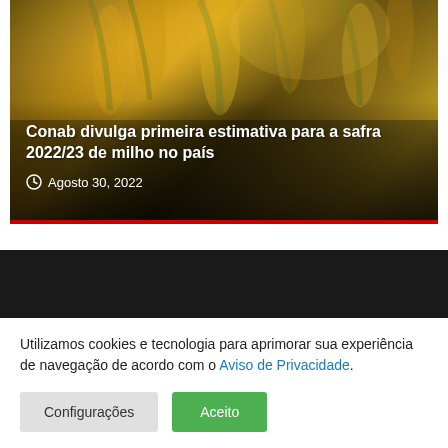[Figure (photo): Corn crop photograph used as hero image background for a news article about Conab's corn harvest estimate]
Conab divulga primeira estimativa para a safra 2022/23 de milho no país
Agosto 30, 2022
Utilizamos cookies e tecnologia para aprimorar sua experiência de navegação de acordo com o Aviso de Privacidade.